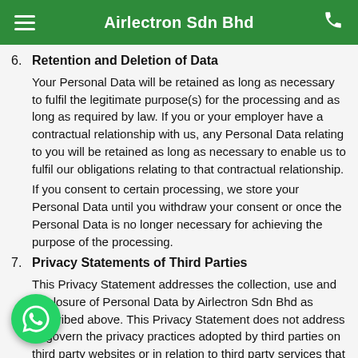Airlectron Sdn Bhd
6. Retention and Deletion of Data
Your Personal Data will be retained as long as necessary to fulfil the legitimate purpose(s) for the processing and as long as required by law. If you or your employer have a contractual relationship with us, any Personal Data relating to you will be retained as long as necessary to enable us to fulfil our obligations relating to that contractual relationship.
If you consent to certain processing, we store your Personal Data until you withdraw your consent or once the Personal Data is no longer necessary for achieving the purpose of the processing.
7. Privacy Statements of Third Parties
This Privacy Statement addresses the collection, use and disclosure of Personal Data by Airlectron Sdn Bhd as described above. This Privacy Statement does not address or govern the privacy practices adopted by third parties on third party websites or in relation to third party services that may be accessible through use of the